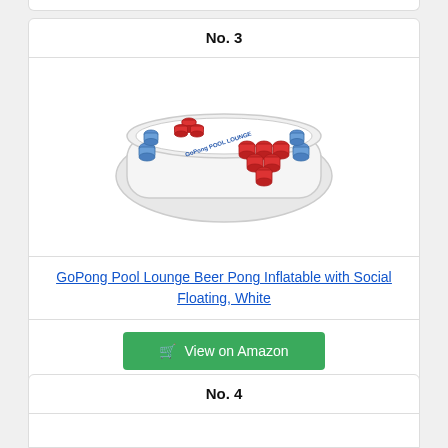No. 3
[Figure (photo): GoPong Pool Lounge Beer Pong Inflatable with Social Floating, White - a white inflatable pool float shaped like a beer pong table with red cups arranged in triangle formations on each end and blue cup holders along the sides]
GoPong Pool Lounge Beer Pong Inflatable with Social Floating, White
View on Amazon
No. 4